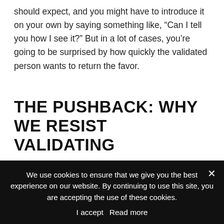should expect, and you might have to introduce it on your own by saying something like, “Can I tell you how I see it?” But in a lot of cases, you’re going to be surprised by how quickly the validated person wants to return the favor.
THE PUSHBACK: WHY WE RESIST VALIDATING
Despite the incredible effectiveness of reflective listening and validation, you might still not want to do it. Here are some likely objections:
We use cookies to ensure that we give you the best experience on our website. By continuing to use this site, you are accepting the use of these cookies.

I accept   Read more